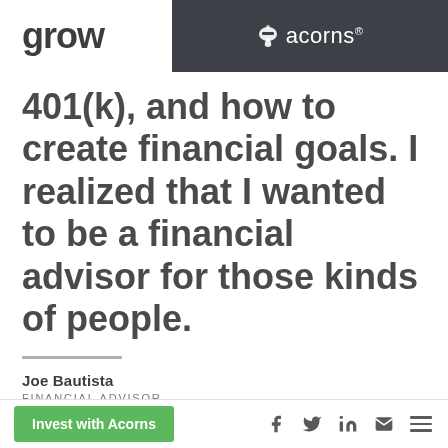grow | acorns®
401(k), and how to create financial goals. I realized that I wanted to be a financial advisor for those kinds of people.
Joe Bautista
FINANCIAL ADVISOR
It was also around this time that Bautista traveled to Chicago to visit his sister, an interior
Invest with Acorns